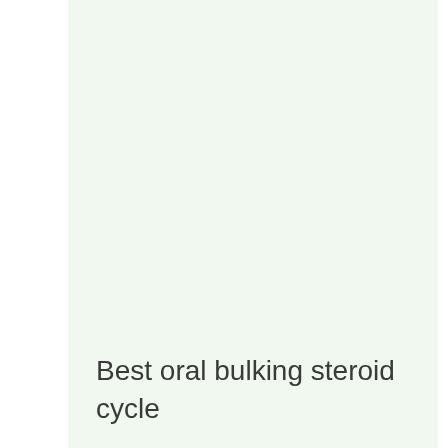Best oral bulking steroid cycle